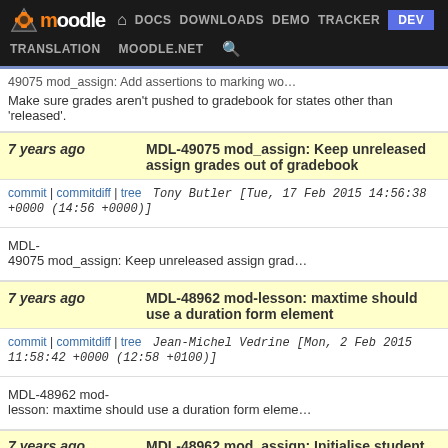moodle | DOCS | DOWNLOADS | DEMO | TRACKER | DEV | TRANSLATION | MOODLE.NET
49075 mod_assign: Add assertions to marking workflow states other than 'released'.
Make sure grades aren't pushed to gradebook for states other than 'released'.
7 years ago   MDL-49075 mod_assign: Keep unreleased assign grades out of gradebook
commit | commitdiff | tree   Tony Butler [Tue, 17 Feb 2015 14:56:38 +0000 (14:56 +0000)]
MDL-49075 mod_assign: Keep unreleased assign grad
7 years ago   MDL-48962 mod-lesson: maxtime should use a duration form element
commit | commitdiff | tree   Jean-Michel Vedrine [Mon, 2 Feb 2015 11:58:42 +0000 (12:58 +0100)]
MDL-48962 mod-lesson: maxtime should use a duration form element
7 years ago   MDL-48962 mod_assign: Initialise student